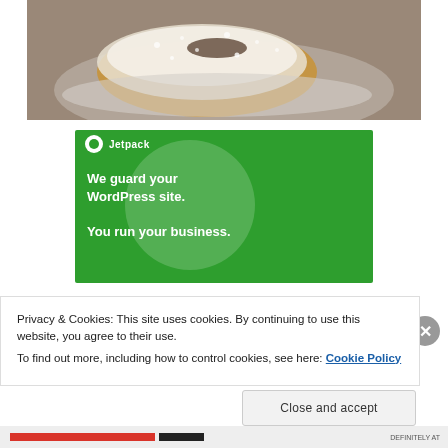[Figure (photo): Close-up photo of a pastry or beignet dusted heavily with powdered sugar, served on a white plate on a gray surface.]
[Figure (screenshot): Jetpack WordPress plugin advertisement banner in green with text 'We guard your WordPress site. You run your business.' and the Jetpack logo at top.]
Privacy & Cookies: This site uses cookies. By continuing to use this website, you agree to their use.
To find out more, including how to control cookies, see here: Cookie Policy
Close and accept